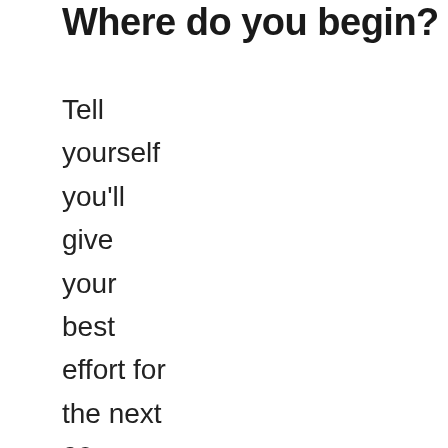Where do you begin?
Tell yourself you'll give your best effort for the next 20 seconds and see what you can do. If you simplify to the next 20 seconds, the future becomes so